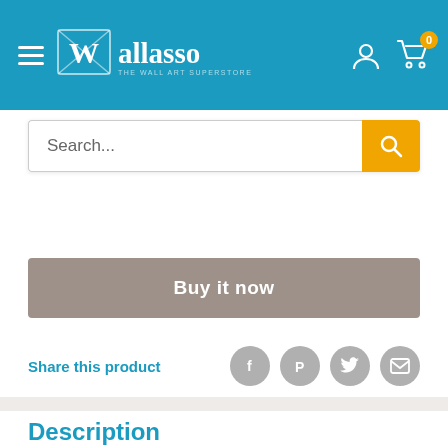Wallasso - The Wall Art Superstore
[Figure (screenshot): Search bar with orange search button]
[Figure (screenshot): Buy it now button in grey/taupe color]
Share this product
[Figure (screenshot): Social share icons: Facebook, Pinterest, Twitter, Email]
Description
Vintage Douglas Ac-47 Military Propeller Airplane At Sunset canvas print from Wallasso.

Bring your artwork to life with the texture and depth of a stretched canvas print. Your new wall art gets printed in sharp detail onto one